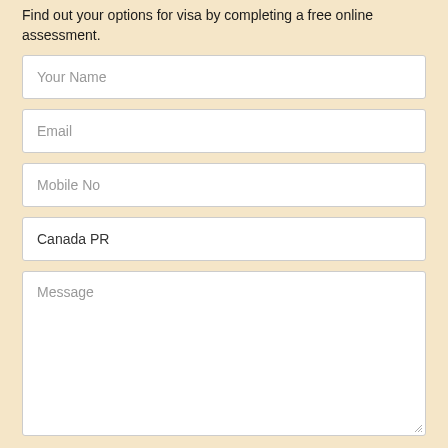Find out your options for visa by completing a free online assessment.
[Figure (screenshot): Web form with fields: Your Name (empty), Email (empty), Mobile No (empty), Canada PR (filled), Message (empty textarea with resize handle)]
Add Your Resume